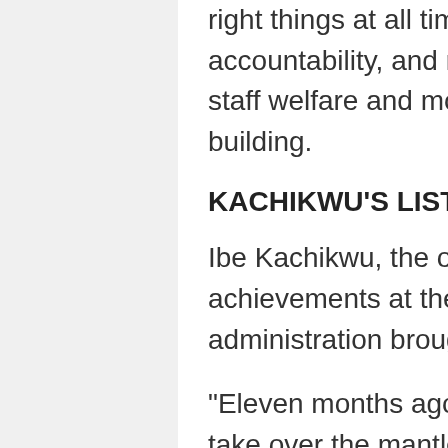right things at all times through transparency, accountability, and respect for all, ensure adequate staff welfare and motivation, training and capacity building.
KACHIKWU'S LISTS 'ACHIEVEMENTS'
Ibe Kachikwu, the outgoing GMD, listed his achievements at the corporation, stating that his administration brought NNPC from loss to profit.
“Eleven months ago when Mr. President asked me to take over the mantle of leadership of GMD, there was indeed an urgency of now, morale was low, there was a lot of issues of transparency on the table, profit index was very poor,” he said.
“Looking back now, one must be very grateful to the president not just for the opportunity but